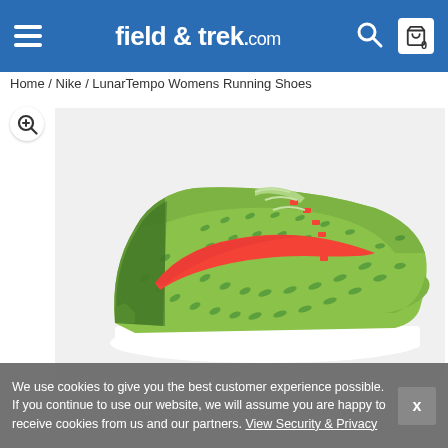field & trek.com
Home / Nike / LunarTempo Womens Running Shoes
[Figure (photo): Nike LunarTempo Womens Running Shoes in neon green/yellow with red Nike swoosh, side profile view on light grey background]
We use cookies to give you the best customer experience possible. If you continue to use our website, we will assume you are happy to receive cookies from us and our partners. View Security & Privacy